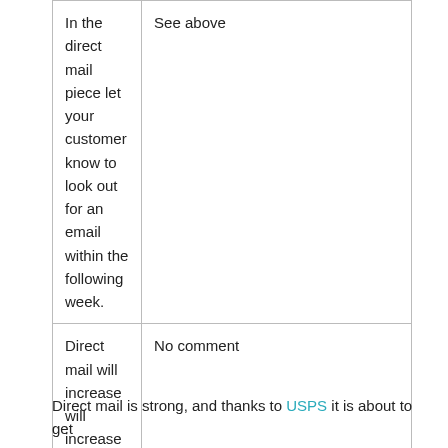| In the direct mail piece let your customer know to look out for an email within the following week. | See above |
| Direct mail will increase will increase your online sales by over 60% This will increase activity on your site by over 25%. | No comment |
| Direct mail has a long shelf life | ……………………………………….. |
Direct mail is strong, and thanks to USPS it is about to get